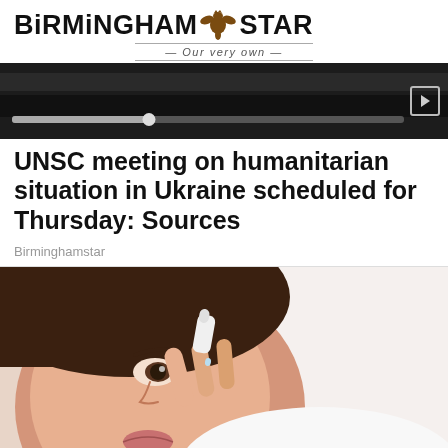BIRMINGHAM STAR — Our very own
[Figure (other): Dark banner/video strip with progress bar and play button]
UNSC meeting on humanitarian situation in Ukraine scheduled for Thursday: Sources
Birminghamstar
[Figure (photo): Close-up photo of a woman applying eye drops to her eye, white background]